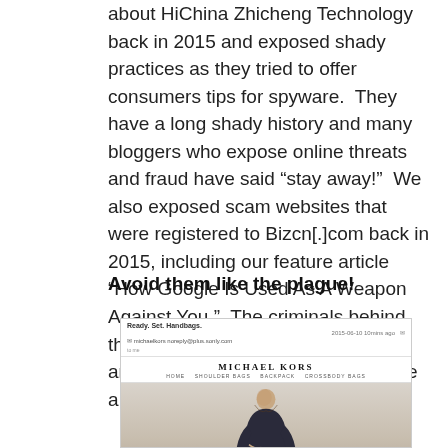about HiChina Zhicheng Technology back in 2015 and exposed shady practices as they tried to offer consumers tips for spyware.  They have a long shady history and many bloggers who expose online threats and fraud have said “stay away!”  We also exposed scam websites that were registered to Bizcn[.]com back in 2015, including our feature article “How Google Is Used As A Weapon Against You.”  The criminals behind these Michael Kors and Oakley ads are pros and have been at this game a long time, as far as we can tell.
Avoid them like the plague!
[Figure (screenshot): Screenshot of a Michael Kors phishing email showing the Michael Kors website with navigation links (HOME, SHOULDER BAGS, BACKPACK, CROSSBODY BAGS) and a woman modeling a dark outfit]